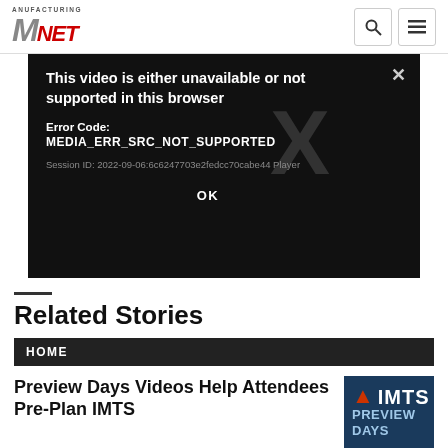Manufacturing.net
[Figure (screenshot): Video player error overlay on dark background. Error message: 'This video is either unavailable or not supported in this browser'. Error Code: MEDIA_ERR_SRC_NOT_SUPPORTED. Session ID: 2022-09-06:6c6247703e2fedcc70cabe44 Player. OK button. Large X watermark behind text.]
Related Stories
HOME
Preview Days Videos Help Attendees Pre-Plan IMTS